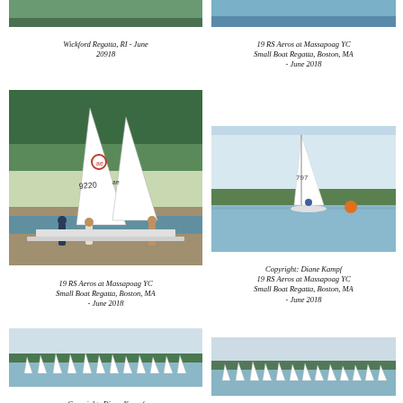[Figure (photo): Cropped top of sailing photo at Wickford Regatta]
Wickford Regatta, RI - June 20918
[Figure (photo): Cropped top of sailing photo at Massapoag YC]
19 RS Aeros at Massapoag YC Small Boat Regatta, Boston, MA - June 2018
[Figure (photo): RS Aero sailboats on shore with people preparing boats among trees]
19 RS Aeros at Massapoag YC Small Boat Regatta, Boston, MA - June 2018
[Figure (photo): Single RS Aero sailboat on water with orange buoy]
Copyright: Diane Kampf
19 RS Aeros at Massapoag YC Small Boat Regatta, Boston, MA - June 2018
[Figure (photo): Fleet of small sailboats on water with tree line in background]
Copyright: Diane Kampf
19 RS Aeros at Massapoag YC
[Figure (photo): Fleet of small sailboats on water with tree line in background]
Copyright: Diane Kampf